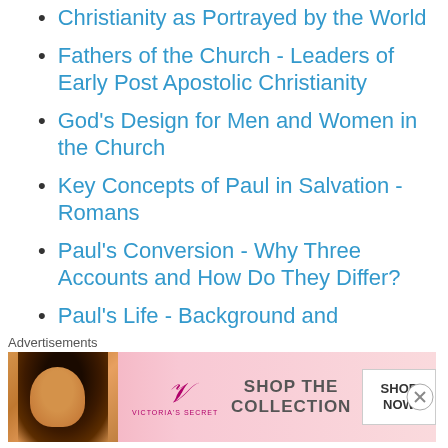Christianity as Portrayed by the World
Fathers of the Church - Leaders of Early Post Apostolic Christianity
God's Design for Men and Women in the Church
Key Concepts of Paul in Salvation - Romans
Paul's Conversion - Why Three Accounts and How Do They Differ?
Paul's Life - Background and Chronology
Paul's Missionary Journeys
Preparation for the Reformation
Pseudonymity, Pseudepigraphy, and the New Testament
Advertisements
[Figure (photo): Victoria's Secret advertisement banner with model and 'SHOP THE COLLECTION / SHOP NOW' text]